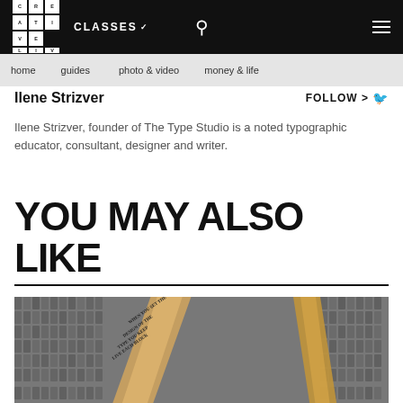CREATIVE LIVE | CLASSES | [search] | [menu]
home | guides | photo & video | money & life
Ilene Strizver
FOLLOW >
Ilene Strizver, founder of The Type Studio is a noted typographic educator, consultant, designer and writer.
YOU MAY ALSO LIKE
[Figure (photo): Letterpress metal type blocks arranged in a wooden tray, with diagonal wooden bars crossing the composition]